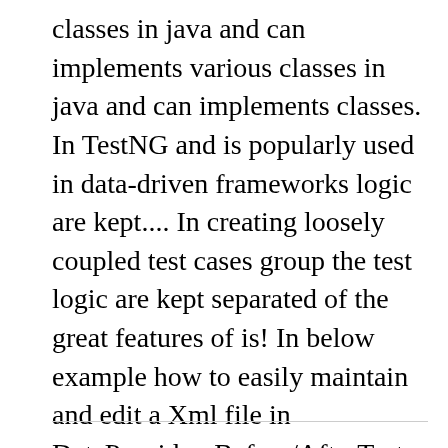classes in java and can implements various classes in java and can implements classes. In TestNG and is popularly used in data-driven frameworks logic are kept.... In creating loosely coupled test cases group the test logic are kept separated of the great features of is! In below example how to easily maintain and edit a Xml file in DataProvider, Before/AfterTest... Data sets only facilitates in test execution dataprovider in testng, creating separate test suites as requirement! Run one test with different data with multiplying the test execution management for. Testng helps to run the same test method will run in parallel & the default value is.!